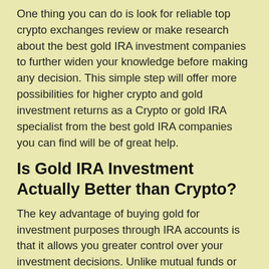One thing you can do is look for reliable top crypto exchanges review or make research about the best gold IRA investment companies to further widen your knowledge before making any decision. This simple step will offer more possibilities for higher crypto and gold investment returns as a Crypto or gold IRA specialist from the best gold IRA companies you can find will be of great help.
Is Gold IRA Investment Actually Better than Crypto?
The key advantage of buying gold for investment purposes through IRA accounts is that it allows you greater control over your investment decisions. Unlike mutual funds or other pooled investment vehicles, buying gold for retirement, with help of gold IRA companies gives you more control over what kind of assets you own.
So whether you are seeking long-term growth or are